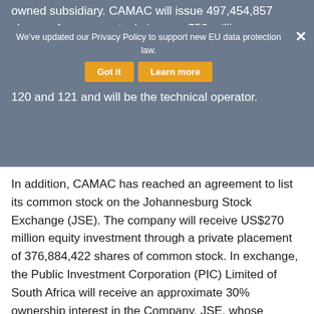owned subsidiary. CAMAC will issue 497,454,857 shares of common stock, issue a $50 million convertible subordinated note and pay $170 million cash for the exchange. Following this transaction, CAMAC will hold a 100% economic interest in the OML 120 and 121 and will be the technical operator.
We've updated our Privacy Policy to support new EU data protection law.
In addition, CAMAC has reached an agreement to list its common stock on the Johannesburg Stock Exchange (JSE). The company will receive US$270 million equity investment through a private placement of 376,884,422 shares of common stock. In exchange, the Public Investment Corporation (PIC) Limited of South Africa will receive an approximate 30% ownership interest in the Company. JSE, whose headquarters is in South Africa, is the largest stock exchange in Africa. CAK currently has approximately 157 million shares listed on the NYSE Market, as of November 21, 2013; OAG360 notes that the company made no announcement regarding any changes to its